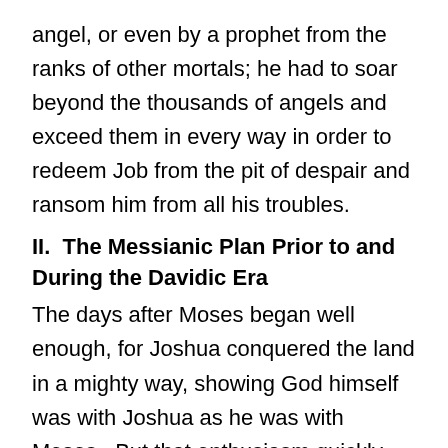angel, or even by a prophet from the ranks of other mortals; he had to soar beyond the thousands of angels and exceed them in every way in order to redeem Job from the pit of despair and ransom him from all his troubles.
II.  The Messianic Plan Prior to and During the Davidic Era
The days after Moses began well enough, for Joshua conquered the land in a mighty way, showing God himself was with Joshua as he was with Moses.  But that enthusiasm quickly dissipated as a new syncretism engulfed the people and they began to adopt the gods and practices of the Canaanites.  In the days of the Judges, Israel enters into a dark period of her